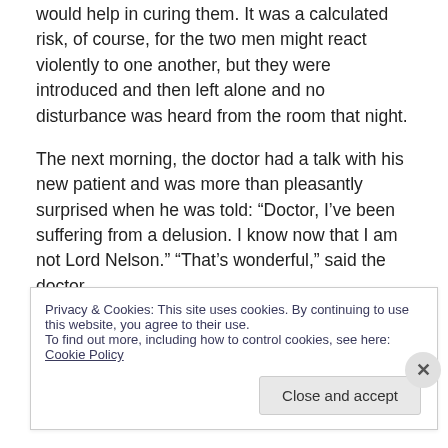would help in curing them. It was a calculated risk, of course, for the two men might react violently to one another, but they were introduced and then left alone and no disturbance was heard from the room that night.
The next morning, the doctor had a talk with his new patient and was more than pleasantly surprised when he was told: “Doctor, I’ve been suffering from a delusion. I know now that I am not Lord Nelson.” “That’s wonderful,” said the doctor.
“Yes,” said the patient, smiling demurely, “I’m Lady
Privacy & Cookies: This site uses cookies. By continuing to use this website, you agree to their use.
To find out more, including how to control cookies, see here: Cookie Policy